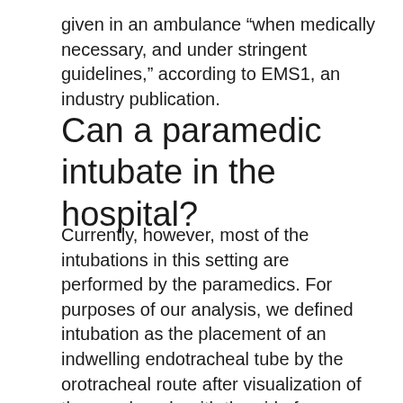given in an ambulance “when medically necessary, and under stringent guidelines,” according to EMS1, an industry publication.
Can a paramedic intubate in the hospital?
Currently, however, most of the intubations in this setting are performed by the paramedics. For purposes of our analysis, we defined intubation as the placement of an indwelling endotracheal tube by the orotracheal route after visualization of the vocal cords with the aid of a laryngoscope.